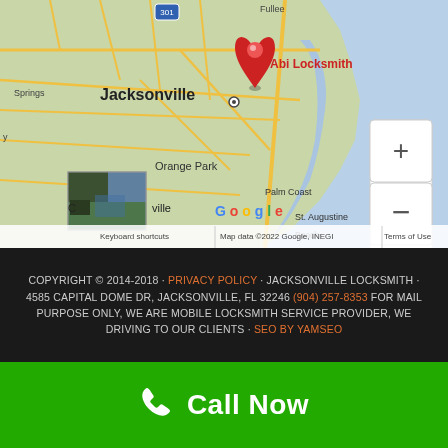[Figure (map): Google Map showing Jacksonville, FL area with a red pin marker labeled 'Abi Locksmith'. Map shows Jacksonville, Orange Park, St. Augustine, St. Augustine Beach, Palm Coast. Includes zoom controls (+/-), a small satellite thumbnail inset, and Google branding. Attribution: Map data ©2022 Google, INEGI, Terms of Use, Keyboard shortcuts.]
Copyright © 2014-2018 · PRIVACY POLICY · JACKSONVILLE LOCKSMITH · 4585 CAPITAL DOME DR, JACKSONVILLE, FL 32246 (904) 257-8353 FOR MAIL PURPOSE ONLY, WE ARE MOBILE LOCKSMITH SERVICE PROVIDER, WE DRIVING TO OUR CLIENTS · SEO by YamSEO
Call Now